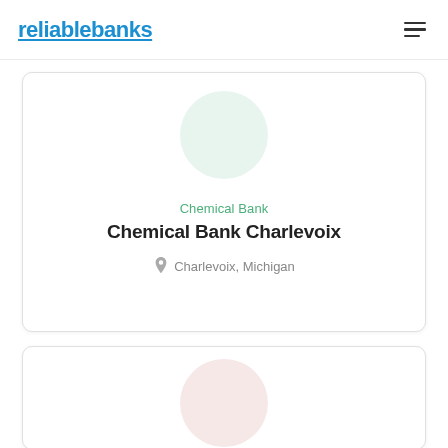reliablebanks
[Figure (illustration): Circular avatar placeholder in light green color representing Chemical Bank profile image]
Chemical Bank
Chemical Bank Charlevoix
Charlevoix, Michigan
[Figure (illustration): Circular avatar placeholder in light pink/salmon color representing a second bank profile image, partially visible at bottom of page]